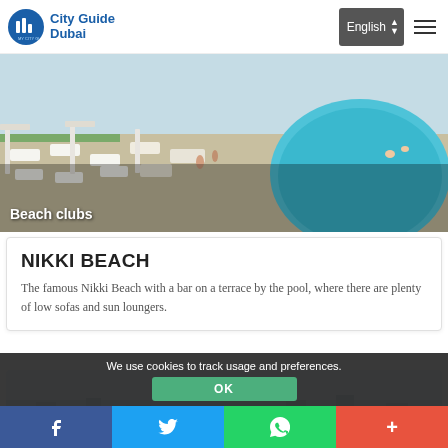City Guide Dubai
[Figure (photo): Aerial view of a beach club with pool, sun loungers, white cabanas, and turquoise water. Label 'Beach clubs' overlaid at bottom left.]
NIKKI BEACH
The famous Nikki Beach with a bar on a terrace by the pool, where there are plenty of low sofas and sun loungers.
[Figure (photo): Partially visible photo of another beach club scene with pale blue sky and waterfront structures.]
We use cookies to track usage and preferences.